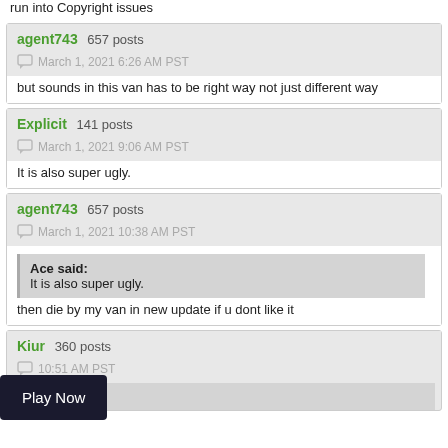run into Copyright issues
agent743  657 posts
March 1, 2021 6:26 AM PST
but sounds in this van has to be right way not just different way
Explicit  141 posts
March 1, 2021 9:06 AM PST
It is also super ugly.
agent743  657 posts
March 1, 2021 10:38 AM PST
Ace said:
It is also super ugly.
then die by my van in new update if u dont like it
Kiur  360 posts
10:51 AM PST
Play Now